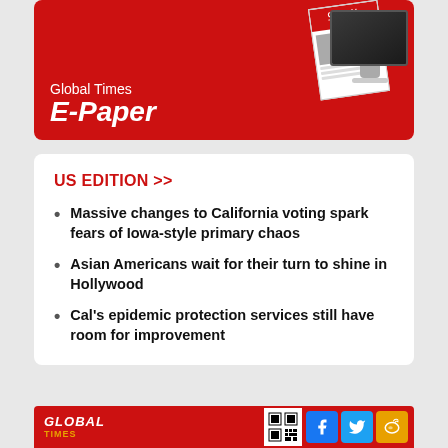[Figure (illustration): Global Times E-Paper banner with newspaper and monitor graphic on red background. Text reads 'Global Times E-Paper']
US EDITION >>
Massive changes to California voting spark fears of Iowa-style primary chaos
Asian Americans wait for their turn to shine in Hollywood
Cal's epidemic protection services still have room for improvement
[Figure (logo): Global Times footer banner with logo, QR code, and social media icons for Facebook, Twitter, and Weibo on red background]